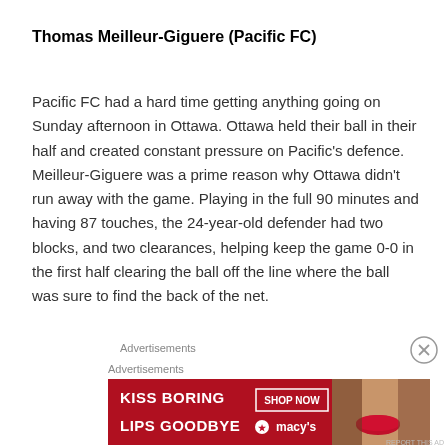Thomas Meilleur-Giguere (Pacific FC)
Pacific FC had a hard time getting anything going on Sunday afternoon in Ottawa. Ottawa held their ball in their half and created constant pressure on Pacific's defence. Meilleur-Giguere was a prime reason why Ottawa didn't run away with the game. Playing in the full 90 minutes and having 87 touches, the 24-year-old defender had two blocks, and two clearances, helping keep the game 0-0 in the first half clearing the ball off the line where the ball was sure to find the back of the net.
Advertisements
Advertisements
[Figure (photo): Advertisement banner for Macy's lipstick: 'KISS BORING LIPS GOODBYE' with SHOP NOW button and Macy's logo, featuring a model with red lips.]